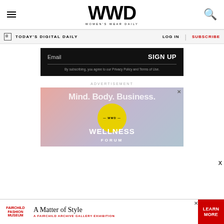WWD — WOMEN'S WEAR DAILY
TODAY'S DIGITAL DAILY | LOG IN | SUBSCRIBE
Email  SIGN UP
By subscribing, you agree to our Privacy Policy and Terms of Use.
ADVERTISEMENT
[Figure (illustration): WWD Wellness Forum advertisement. Text reads: Mind. Body. Business. WWD WELLNESS FORUM with yellow circle logo.]
[Figure (illustration): Fairchild Fashion Museum banner ad. Text: A Matter of Style — A FAIRCHILD ARCHIVE GALLERY EXHIBITION. Red LEARN MORE button.]